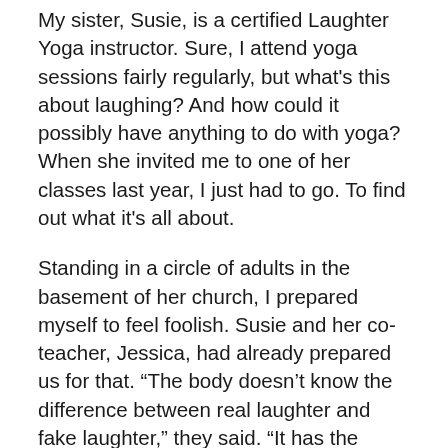My sister, Susie, is a certified Laughter Yoga instructor. Sure, I attend yoga sessions fairly regularly, but what's this about laughing?  And how could it possibly have anything to do with yoga?  When she invited me to one of her classes last year, I just had to go.  To find out what it's all about.
Standing in a circle of adults in the basement of her church, I prepared myself to feel foolish.  Susie and her co-teacher, Jessica, had already prepared us for that.  “The body doesn’t know the difference between real laughter and fake laughter,” they said.  “It has the same beneficial effects on the body.”  Apparently I was going to fake it through this class.
To start, they laid down the guidelines.  Among them, no talking.  (Except for the instructors, of course.)  So in order